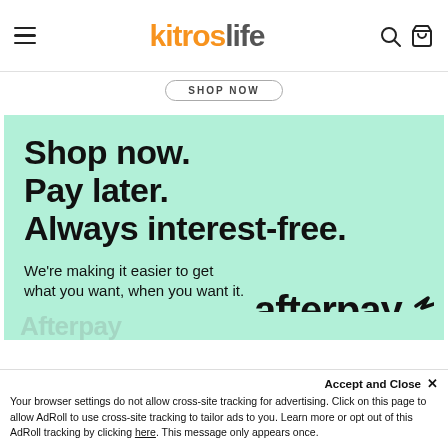kitroslife
SHOP NOW
[Figure (infographic): Afterpay promotional banner on mint green background. Large bold black text reads: Shop now. Pay later. Always interest-free. Below: We’re making it easier to get what you want, when you want it. Afterpay logo at bottom right.]
Accept and Close ×
Your browser settings do not allow cross-site tracking for advertising. Click on this page to allow AdRoll to use cross-site tracking to tailor ads to you. Learn more or opt out of this AdRoll tracking by clicking here. This message only appears once.